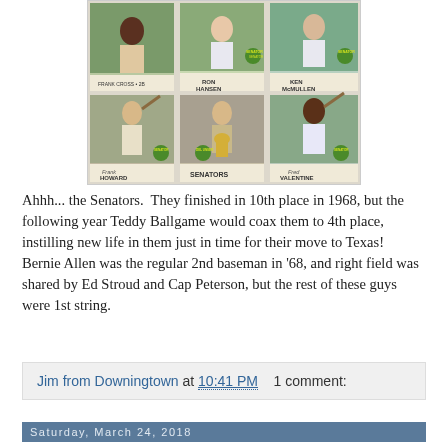[Figure (photo): Baseball trading cards showing Washington Senators players including Ron Hansen, Ken McMullen, Frank Howard, Del Unser (Senators), and Fred Valentine, with green 'Senator' medallion logos on each card.]
Ahhh... the Senators.  They finished in 10th place in 1968, but the following year Teddy Ballgame would coax them to 4th place, instilling new life in them just in time for their move to Texas! Bernie Allen was the regular 2nd baseman in '68, and right field was shared by Ed Stroud and Cap Peterson, but the rest of these guys were 1st string.
Jim from Downingtown at 10:41 PM    1 comment:
Saturday, March 24, 2018